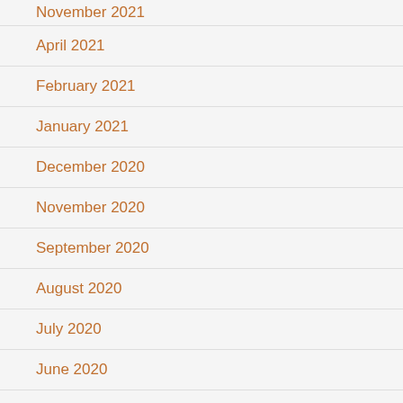November 2021
April 2021
February 2021
January 2021
December 2020
November 2020
September 2020
August 2020
July 2020
June 2020
May 2020
TOP POSTS & PAGES
CEASAR SALAD "TABLESIDE"